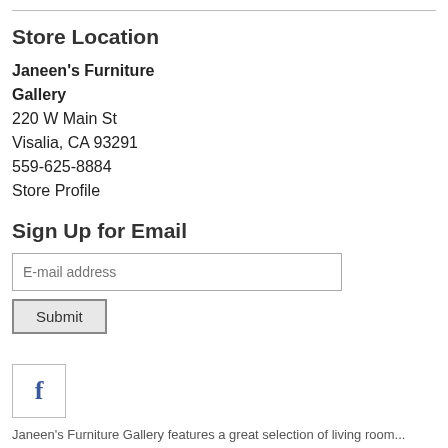Store Location
Janeen's Furniture Gallery
220 W Main St
Visalia, CA 93291
559-625-8884
Store Profile
Sign Up for Email
E-mail address
Submit
[Figure (logo): Facebook icon button — square box with a bold lowercase 'f' in Facebook blue]
Janeen's Furniture Gallery features a great selection of living room...